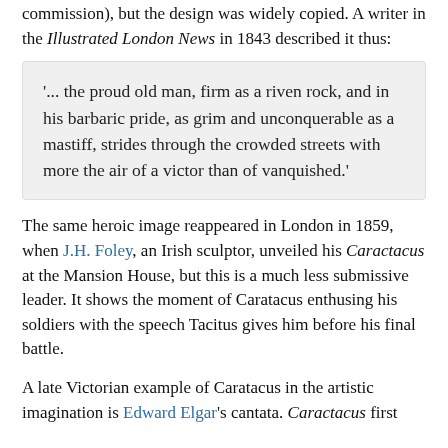commission), but the design was widely copied. A writer in the Illustrated London News in 1843 described it thus:
'... the proud old man, firm as a riven rock, and in his barbaric pride, as grim and unconquerable as a mastiff, strides through the crowded streets with more the air of a victor than of vanquished.'
The same heroic image reappeared in London in 1859, when J.H. Foley, an Irish sculptor, unveiled his Caractacus at the Mansion House, but this is a much less submissive leader. It shows the moment of Caratacus enthusing his soldiers with the speech Tacitus gives him before his final battle.
A late Victorian example of Caratacus in the artistic imagination is Edward Elgar's cantata. Caractacus first